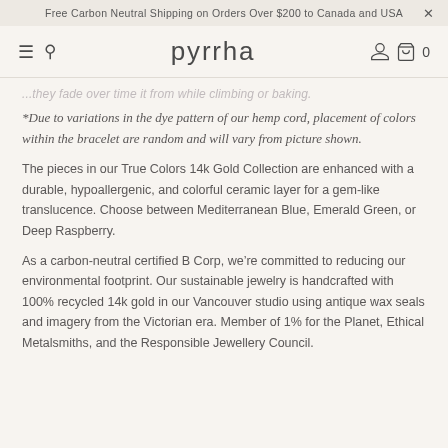Free Carbon Neutral Shipping on Orders Over $200 to Canada and USA
pyrrha
...they fade over time it from while climbing or baking.
*Due to variations in the dye pattern of our hemp cord, placement of colors within the bracelet are random and will vary from picture shown.
The pieces in our True Colors 14k Gold Collection are enhanced with a durable, hypoallergenic, and colorful ceramic layer for a gem-like translucence. Choose between Mediterranean Blue, Emerald Green, or Deep Raspberry.
As a carbon-neutral certified B Corp, we’re committed to reducing our environmental footprint. Our sustainable jewelry is handcrafted with 100% recycled 14k gold in our Vancouver studio using antique wax seals and imagery from the Victorian era. Member of 1% for the Planet, Ethical Metalsmiths, and the Responsible Jewellery Council.